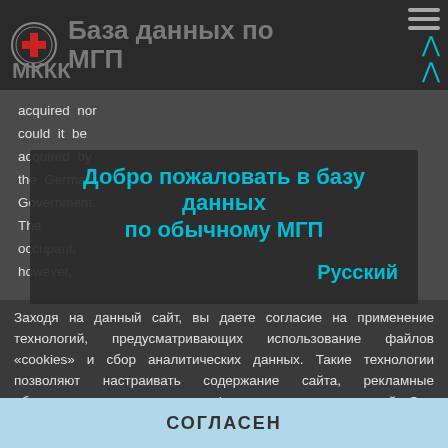База данных по МГП
МККК
acquired nor could it be acquired by the German Government. The occupant, however,
Добро пожаловать в базу данных по обычному МГП
Русский
Заходя на данный сайт, вы даете согласие на применение технологий, предусматривающих использование файлов «cookies» и сбор аналитических данных. Такие технологии позволяют настраивать содержание сайта, рекламные объявления и предоставлять функции социальных сетей. Они будут использоваться для анализа посещений сайта, что позволит нам понять предпочтения посетителей и улучшить предоставляемые услуги. Узнать больше
СОГЛАСЕН